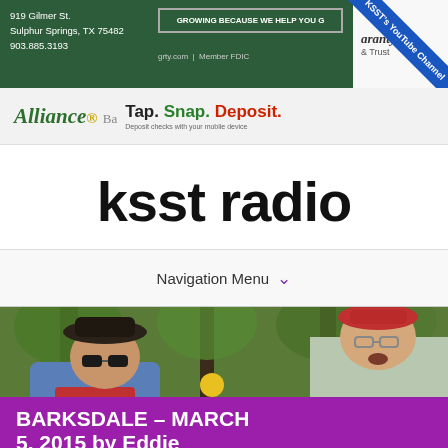919 Gilmer St. Sulphur Springs, TX 75482 903.885.3193
GROWING BECAUSE WE HELP YOU G... | grty.com | Member FDIC
Guaranty & Trust
KSST's YouTube Channel
[Figure (logo): Alliance Bank logo with tagline: Tap. Snap. Deposit.]
ksst radio
Navigation Menu
[Figure (photo): Two men outdoors under trees. Left man wearing dark cowboy hat, sunglasses, and blue denim jacket with red shirt. Right man wearing red baseball cap and light gray fishing shirt.]
BARKSDALE – MARCH 5, 2015 by Eddie Trapp